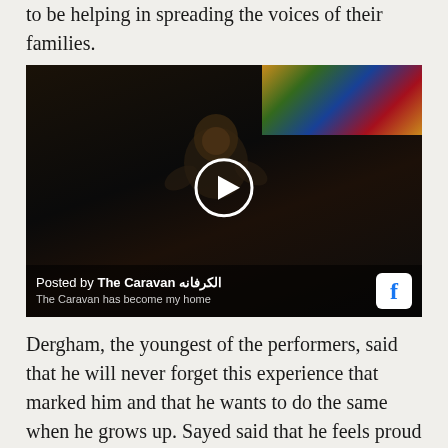to be helping in spreading the voices of their families.
[Figure (photo): Video thumbnail showing a young boy smiling and clapping, with colorful fabric in the background. A play button is overlaid in the center. The footer bar reads 'Posted by The Caravan الكرفانه' with Facebook icon and subtitle 'The Caravan has become my home'.]
Dergham, the youngest of the performers, said that he will never forget this experience that marked him and that he wants to do the same when he grows up. Sayed said that he feels proud that he was part of this and that he feels people are accepting him more than before.